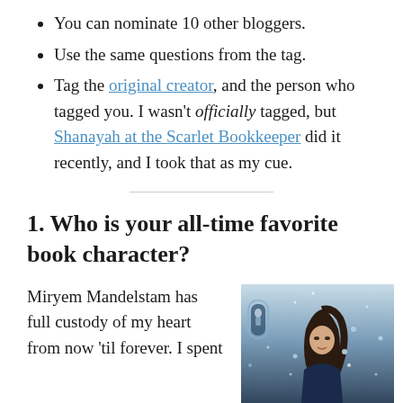You can nominate 10 other bloggers.
Use the same questions from the tag.
Tag the original creator, and the person who tagged you. I wasn't officially tagged, but Shanayah at the Scarlet Bookkeeper did it recently, and I took that as my cue.
1. Who is your all-time favorite book character?
Miryem Mandelstam has full custody of my heart from now ’til forever. I spent
[Figure (illustration): Book cover with a young woman with dark hair against a blue wintry background, with an arch/window structure to the left and snow/sparkle particles throughout. Top text reads 'NEW YORK TIMES BESTSELLING AUTHOR OF UPROOTED'.]